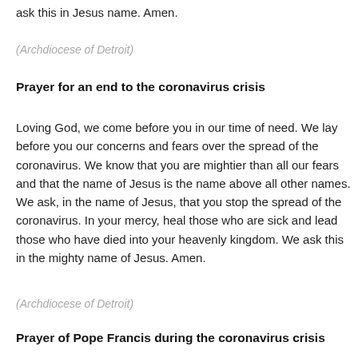ask this in Jesus name.  Amen.
(Archdiocese of Detroit)
Prayer for an end to the coronavirus crisis
Loving God, we come before you in our time of need.  We lay before you our concerns and fears over the spread of the coronavirus.  We know that you are mightier than all our fears and that the name of Jesus is the name above all other names.  We ask, in the name of Jesus, that you stop the spread of the coronavirus.  In your mercy, heal those who are sick and lead those who have died into your heavenly kingdom.  We ask this in the mighty name of Jesus.  Amen.
(Archdiocese of Detroit)
Prayer of Pope Francis during the coronavirus crisis